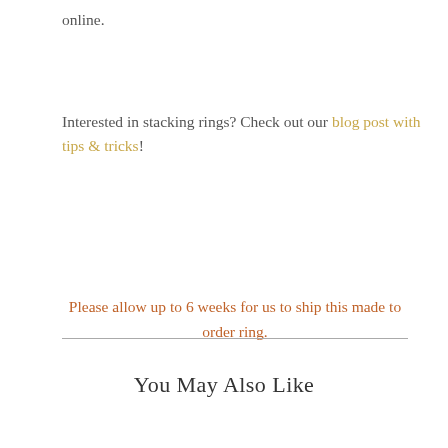online.
Interested in stacking rings? Check out our blog post with tips & tricks!
Please allow up to 6 weeks for us to ship this made to order ring.
You May Also Like